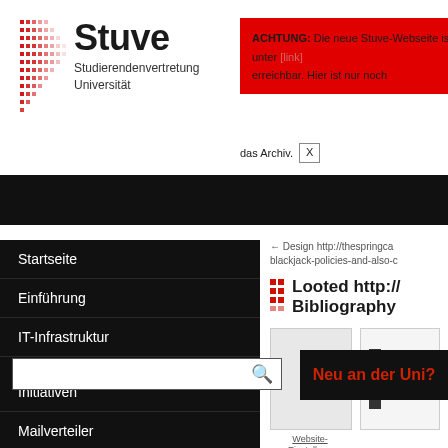[Figure (logo): Stuve logo with red dot grid pattern and title Stuve, subtitle Studierendenvertretung Universität]
ACHTUNG: Die neue Stuve-Webseite ist unter [link] erreichbar. Hier ist nur noch das Archiv. [X]
[Figure (screenshot): Black navigation bar with search box and 'Neu an der Uni?' link in red]
Startseite
Einführung
IT-Infrastruktur
Konferenz der studentischen Initiativen
Mailverteiler
Termine
Studierendenvertretung
Referate & Arbeitskreise
← Design http://thespringca blackjack-policies-and-also-c
Looted http:// Bibliography
[Figure (screenshot): Two thumbnail images side by side below the article title]
Website-Einstellung